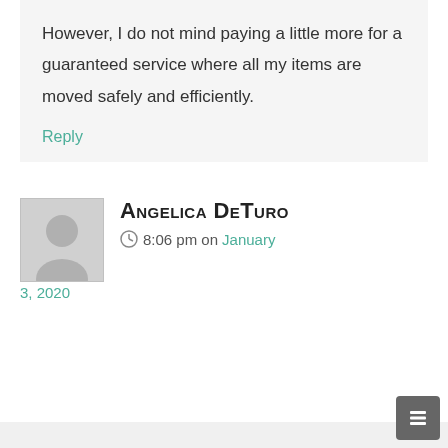However, I do not mind paying a little more for a guaranteed service where all my items are moved safely and efficiently.
Reply
Angelica DeTuro
8:06 pm on January 3, 2020